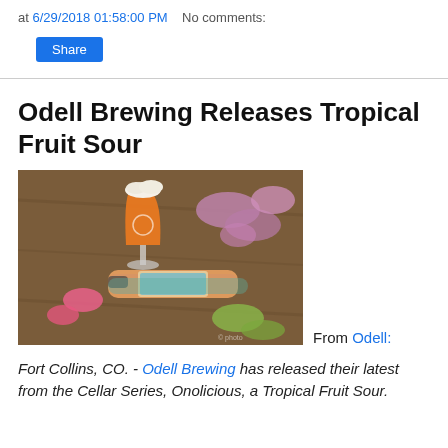at 6/29/2018 01:58:00 PM   No comments:
Share
Odell Brewing Releases Tropical Fruit Sour
[Figure (photo): A glass of orange/amber tropical sour beer with a foamy head, surrounded by pink and purple flowers, with a bottle of Onolicious Tropical Fruit Sour lying on a wooden surface.]
From Odell:
Fort Collins, CO. - Odell Brewing has released their latest from the Cellar Series, Onolicious, a Tropical Fruit Sour.